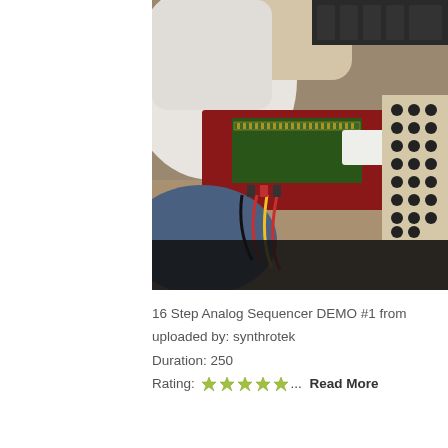[Figure (photo): Person operating a 16-step analog sequencer with modular synthesizers. Red sequencer chassis with green PCB visible, various knobs and cables, person in white shirt and blue jeans.]
16 Step Analog Sequencer DEMO #1 from
uploaded by: synthrotek
Duration: 250
Rating: ☆☆☆☆☆... Read More